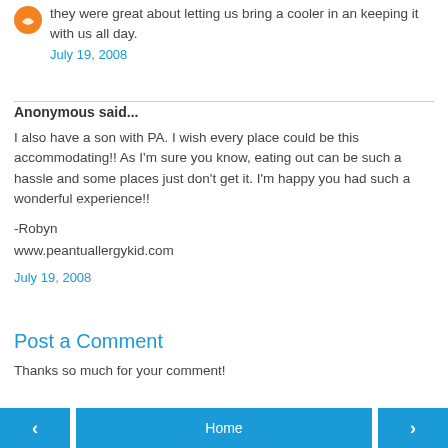they were great about letting us bring a cooler in an keeping it with us all day.
July 19, 2008
Anonymous said...
I also have a son with PA. I wish every place could be this accommodating!! As I'm sure you know, eating out can be such a hassle and some places just don't get it. I'm happy you had such a wonderful experience!!

-Robyn
www.peantuallergykid.com
July 19, 2008
Post a Comment
Thanks so much for your comment!